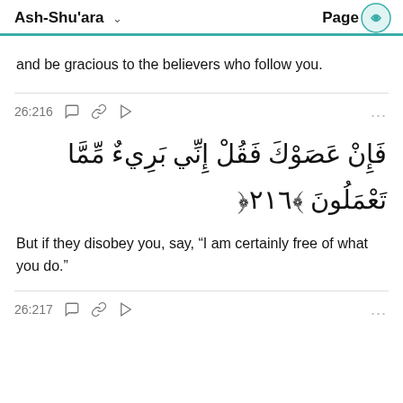Ash-Shu'ara  Page 376
and be gracious to the believers who follow you.
26:216
فَإِن عَصَوْكَ فَقُلْ إِنِّي بَرِىٓءٌ مِّمَّا تَعْمَلُونَ ٢١٦
But if they disobey you, say, “I am certainly free of what you do.”
26:217